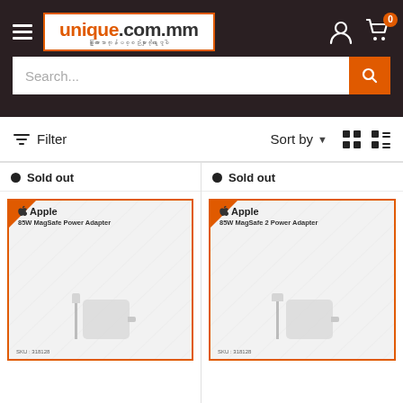[Figure (screenshot): E-commerce website header with unique.com.mm logo, hamburger menu, account icon, cart icon with badge showing 0, and a search bar with orange search button]
Filter   Sort by ▾
● Sold out
● Sold out
[Figure (photo): Apple 85W MagSafe Power Adapter product image with orange border, showing adapter box and cable. SKU: 318128]
[Figure (photo): Apple 85W MagSafe 2 Power Adapter product image with orange border, showing adapter box and cable. SKU: 318128]